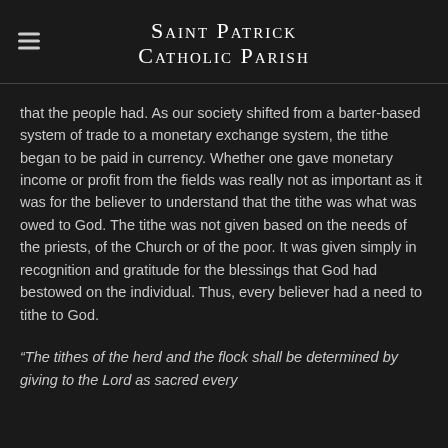Saint Patrick Catholic Parish
that the people had. As our society shifted from a barter-based system of trade to a monetary exchange system, the tithe began to be paid in currency. Whether one gave monetary income or profit from the fields was really not as important as it was for the believer to understand that the tithe was what was owed to God. The tithe was not given based on the needs of the priests, of the Church or of the poor. It was given simply in recognition and gratitude for the blessings that God had bestowed on the individual. Thus, every believer had a need to tithe to God.
“The tithes of the herd and the flock shall be determined by giving to the Lord as sacred every